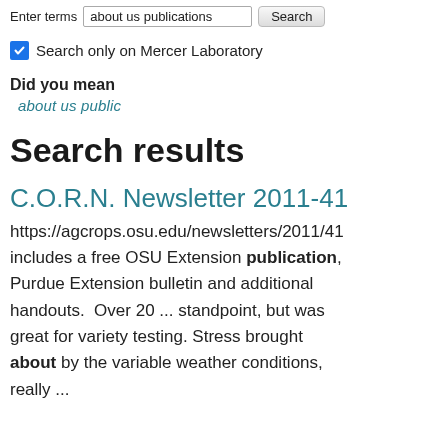Enter terms: about us publications | Search
Search only on Mercer Laboratory
Did you mean
about us public
Search results
C.O.R.N. Newsletter 2011-41
https://agcrops.osu.edu/newsletters/2011/41 includes a free OSU Extension publication, Purdue Extension bulletin and additional handouts. Over 20 ... standpoint, but was great for variety testing. Stress brought about by the variable weather conditions, really ...